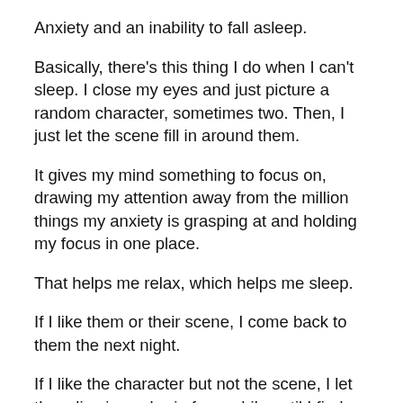Anxiety and an inability to fall asleep.
Basically, there's this thing I do when I can't sleep. I close my eyes and just picture a random character, sometimes two. Then, I just let the scene fill in around them.
It gives my mind something to focus on, drawing my attention away from the million things my anxiety is grasping at and holding my focus in one place.
That helps me relax, which helps me sleep.
If I like them or their scene, I come back to them the next night.
If I like the character but not the scene, I let them live in my brain for a while until I find a world for them.
That's what happened with Aurisye from Soul Bearer. I